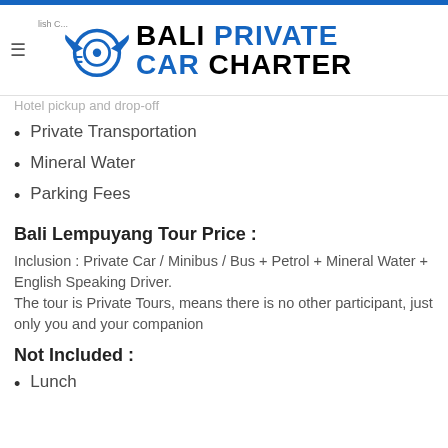Bali Private Car Charter
Hotel pickup and drop-off
Private Transportation
Mineral Water
Parking Fees
Bali Lempuyang Tour Price :
Inclusion : Private Car / Minibus / Bus + Petrol + Mineral Water + English Speaking Driver.
The tour is Private Tours, means there is no other participant, just only you and your companion
Not Included :
Lunch